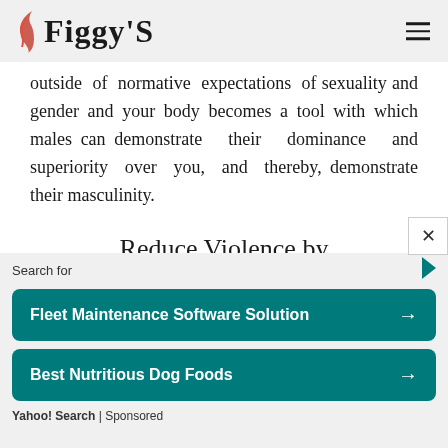Figgy'S
outside of normative expectations of sexuality and gender and your body becomes a tool with which males can demonstrate their dominance and superiority over you, and thereby, demonstrate their masculinity.
Reduce Violence by Changing the Definition of Masculinity
We dis this id d
[Figure (screenshot): Advertisement overlay with search bar and two teal buttons: 'Fleet Maintenance Software Solution' and 'Best Nutritious Dog Foods', with Yahoo! Search | Sponsored footer]